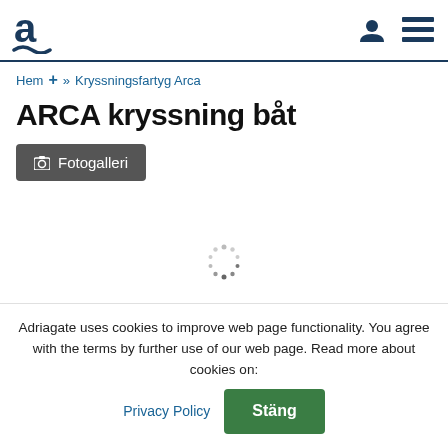Adriagate logo, user icon, and menu icon
Hem + » Kryssningsfartyg Arca
ARCA kryssning båt
📷 Fotogalleri
[Figure (other): Loading spinner animation (circular dotted spinner)]
Adriagate uses cookies to improve web page functionality. You agree with the terms by further use of our web page. Read more about cookies on: Privacy Policy  Stäng